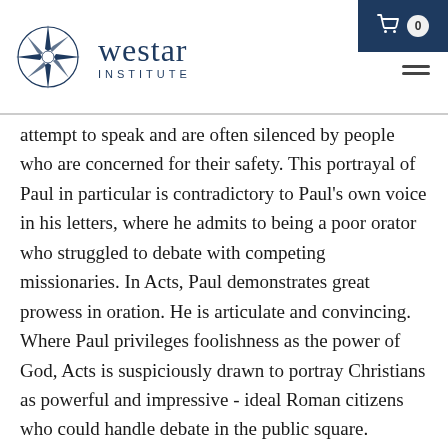[Figure (logo): Westar Institute logo with compass rose star icon and text 'westar INSTITUTE' in navy blue]
attempt to speak and are often silenced by people who are concerned for their safety. This portrayal of Paul in particular is contradictory to Paul's own voice in his letters, where he admits to being a poor orator who struggled to debate with competing missionaries. In Acts, Paul demonstrates great prowess in oration. He is articulate and convincing. Where Paul privileges foolishness as the power of God, Acts is suspiciously drawn to portray Christians as powerful and impressive - ideal Roman citizens who could handle debate in the public square.